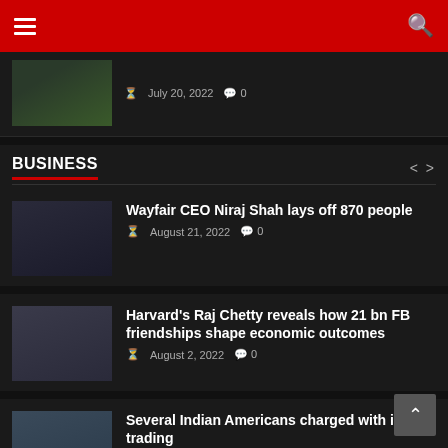Navigation header with hamburger menu and search icon
[Figure (photo): Partial article thumbnail showing a soccer/football player on grass field]
July 20, 2022  0
BUSINESS
[Figure (photo): Portrait photo of a man in dark suit with pink tie (Niraj Shah, Wayfair CEO)]
Wayfair CEO Niraj Shah lays off 870 people
August 21, 2022  0
[Figure (photo): Portrait photo of a man smiling in a dark blazer (Raj Chetty)]
Harvard's Raj Chetty reveals how 21 bn FB friendships shape economic outcomes
August 2, 2022  0
[Figure (photo): Photo of a modern glass office building exterior]
Several Indian Americans charged with in trading
July 26, 2022  0